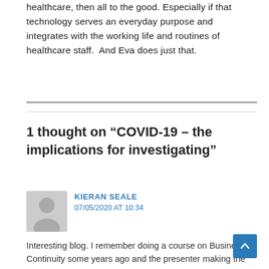healthcare, then all to the good. Especially if that technology serves an everyday purpose and integrates with the working life and routines of healthcare staff.  And Eva does just that.
1 thought on “COVID-19 – the implications for investigating”
KIERAN SEALE
07/05/2020 AT 10:34
Interesting blog. I remember doing a course on Business Continuity some years ago and the presenter making the